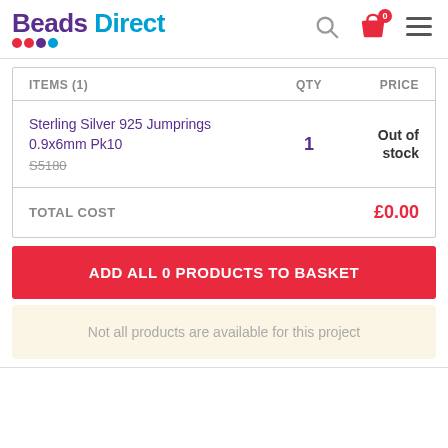[Figure (logo): Beads Direct logo with colored dots]
| ITEMS (1) | QTY | PRICE |
| --- | --- | --- |
| Sterling Silver 925 Jumprings 0.9x6mm Pk10
S5180 | 1 | Out of stock |
TOTAL COST  £0.00
ADD ALL 0 PRODUCTS TO BASKET
Not all products are available for this project